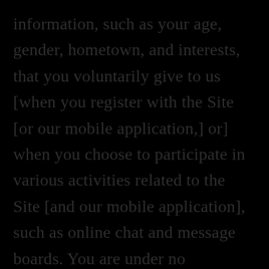information, such as your age, gender, hometown, and interests, that you voluntarily give to us [when you register with the Site [or our mobile application,] or] when you choose to participate in various activities related to the Site [and our mobile application], such as online chat and message boards. You are under no obligation to provide us with personal information of any kind, however your refusal to do so may prevent you from using certain features of the Site [and our